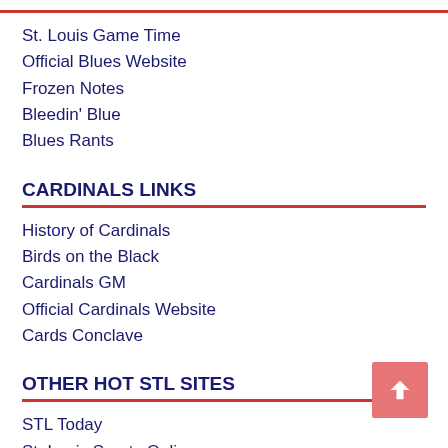St. Louis Game Time
Official Blues Website
Frozen Notes
Bleedin' Blue
Blues Rants
CARDINALS LINKS
History of Cardinals
Birds on the Black
Cardinals GM
Official Cardinals Website
Cards Conclave
OTHER HOT STL SITES
STL Today
St. Louis Sports Online
St. Louis City Soccer Club